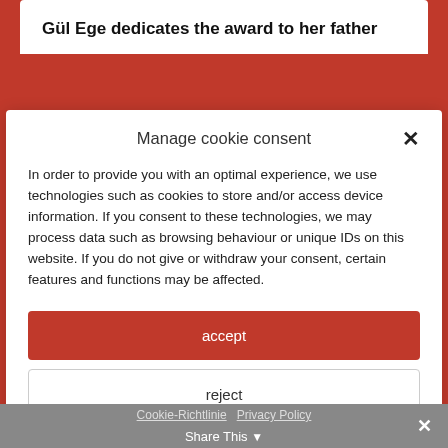Gül Ege dedicates the award to her father
Manage cookie consent
In order to provide you with an optimal experience, we use technologies such as cookies to store and/or access device information. If you consent to these technologies, we may process data such as browsing behaviour or unique IDs on this website. If you do not give or withdraw your consent, certain features and functions may be affected.
accept
reject
view settings
Cookie-Richtlinie  Privacy Policy  Share This ×